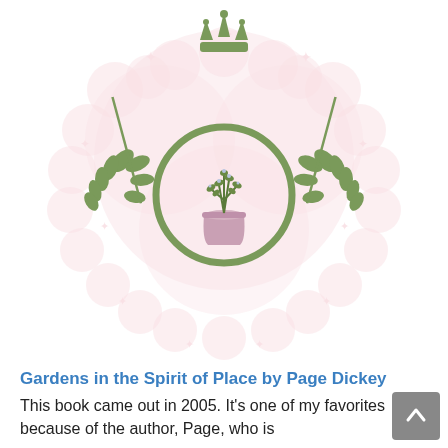[Figure (logo): Green heraldic emblem featuring a crown at top, a circular wreath/ring with laurel branches on either side, and a potted herb plant (rosemary or similar) in the center, all on a light pink scalloped/dotted heart-shaped background]
Gardens in the Spirit of Place by Page Dickey
This book came out in 2005. It's one of my favorites because of the author, Page, who is